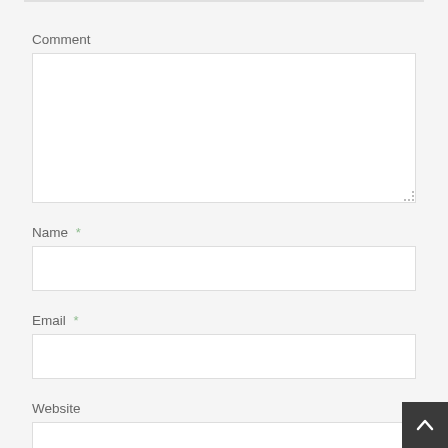Comment
[Figure (other): Comment text area input field (empty, white background, with resize handle corner)]
Name *
[Figure (other): Name text input field (empty, white background)]
Email *
[Figure (other): Email text input field (empty, white background)]
Website
[Figure (other): Website text input field (empty, white background, partially visible)]
[Figure (other): Back to top button — dark grey square with upward chevron arrow, bottom-right corner]